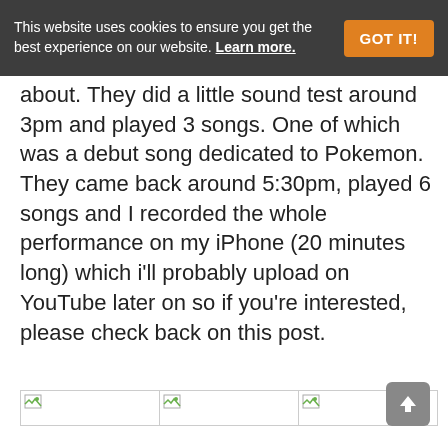This website uses cookies to ensure you get the best experience on our website. Learn more. GOT IT!
about. They did a little sound test around 3pm and played 3 songs. One of which was a debut song dedicated to Pokemon. They came back around 5:30pm, played 6 songs and I recorded the whole performance on my iPhone (20 minutes long) which i'll probably upload on YouTube later on so if you're interested, please check back on this post.
[Figure (photo): Three broken/missing image placeholders shown in a row]
[Figure (other): Back to top arrow button in grey rounded square]